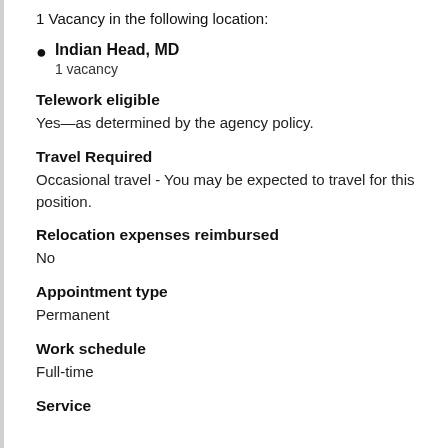1 Vacancy in the following location:
Indian Head, MD
1 vacancy
Telework eligible
Yes—as determined by the agency policy.
Travel Required
Occasional travel - You may be expected to travel for this position.
Relocation expenses reimbursed
No
Appointment type
Permanent
Work schedule
Full-time
Service